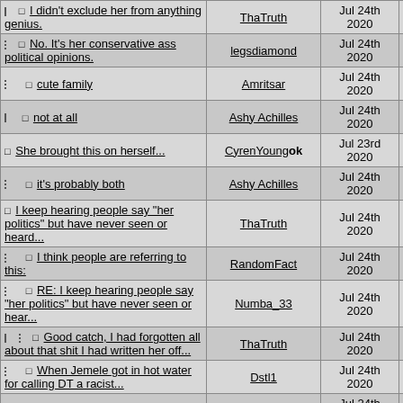| Thread | User | Date | # |
| --- | --- | --- | --- |
| I didn't exclude her from anything genius. | ThaTruth | Jul 24th 2020 | 22 |
| No. It's her conservative ass political opinions. | legsdiamond | Jul 24th 2020 | 21 |
| cute family | Amritsar | Jul 24th 2020 | 23 |
| not at all | Ashy Achilles | Jul 24th 2020 | 25 |
| She brought this on herself... | CyrenYoung ok | Jul 23rd 2020 | 19 |
| it's probably both | Ashy Achilles | Jul 24th 2020 | 26 |
| I keep hearing people say "her politics" but have never seen or heard... | ThaTruth | Jul 24th 2020 | 27 |
| I think people are referring to this: | RandomFact | Jul 24th 2020 | 28 |
| RE: I keep hearing people say "her politics" but have never seen or hear... | Numba_33 | Jul 24th 2020 | 29 |
| Good catch, I had forgotten all about that shit I had written her off... | ThaTruth | Jul 24th 2020 | 31 |
| When Jemele got in hot water for calling DT a racist... | Dstl1 | Jul 24th 2020 | 32 |
| Yup, she's vile. | Orbit_Established | Jul 24th 2020 | 33 |
| RE: When Jemele | jimaveli | Jul 26th 2020 | 35 |